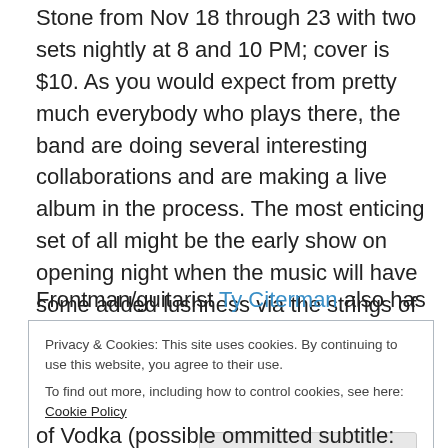Stone from Nov 18 through 23 with two sets nightly at 8 and 10 PM; cover is $10. As you would expect from pretty much everybody who plays there, the band are doing several interesting collaborations and are making a live album in the process. The most enticing set of all might be the early show on opening night when the music will have some added lushness via the strings of the Jack Quartet.
Frontman/guitarist Ty Citerman also has a wickedly fun, tuneful, genre-defying sort-of-solo Tzadik album, Bop
Privacy & Cookies: This site uses cookies. By continuing to use this website, you agree to their use.
To find out more, including how to control cookies, see here: Cookie Policy
of Vodka (possible ommitted subtitle: what cossack